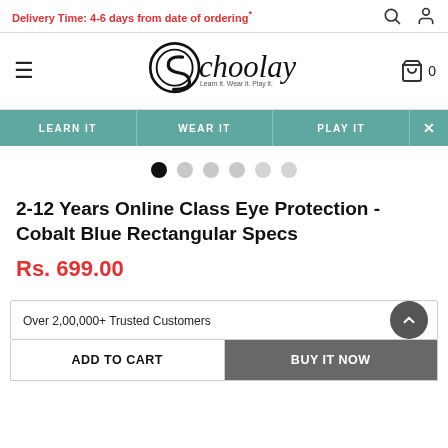Delivery Time: 4-6 days from date of ordering*
[Figure (logo): Schoolay logo with circular S emblem and tagline 'Learn it. Wear it. Play it.']
LEARN IT   WEAR IT   PLAY IT
[Figure (other): Carousel pagination dots: 6 dots, first one filled/active black, rest grey]
2-12 Years Online Class Eye Protection - Cobalt Blue Rectangular Specs
Rs. 699.00
Over 2,00,000+ Trusted Customers
ADD TO CART
BUY IT NOW